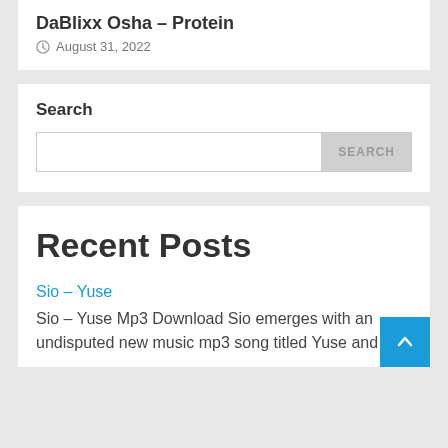DaBlixx Osha – Protein
August 31, 2022
Search
Recent Posts
Sio – Yuse
Sio – Yuse Mp3 Download Sio emerges with an undisputed new music mp3 song titled Yuse and its